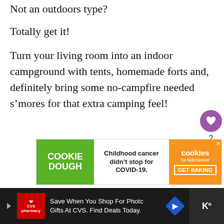Not an outdoors type?
Totally get it!
Turn your living room into an indoor campground with tents, homemade forts and, definitely bring some no-campfire needed s’mores for that extra camping feel!
[Figure (infographic): Advertisement banner for Cookie Dough for Kids Cancer: green section with 'COOKIE DOUGH', white section with 'Childhood cancer didn’t stop for COVID-19.', orange section with 'cookies for kids cancer GET BAKING']
[Figure (infographic): What's Next promo box showing a thumbnail image and text 'The Best Way to Handle...']
[Figure (infographic): Bottom advertisement bar: CVS Pharmacy logo, 'Save When You Shop For Photo Gifts At CVS. Find Deals Today.']